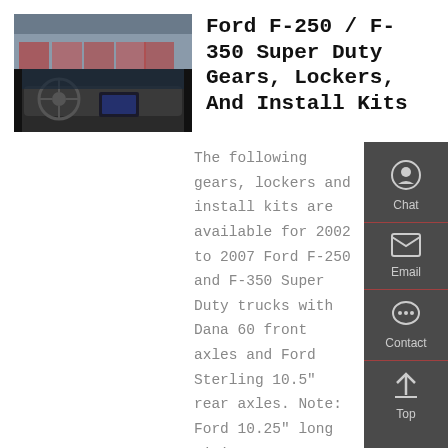[Figure (photo): Interior view of a Ford F-250/F-350 Super Duty truck cab showing the dashboard, steering wheel, and center console]
Ford F-250 / F-350 Super Duty Gears, Lockers, And Install Kits
The following gears, lockers and install kits are available for 2002 to 2007 Ford F-250 and F-350 Super Duty trucks with Dana 60 front axles and Ford Sterling 10.5" rear axles. Note: Ford 10.25" long pinion gears are also compatible with